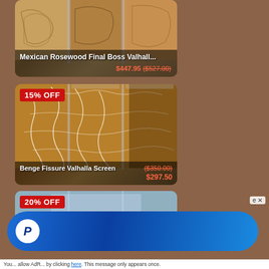[Figure (photo): Mexican Rosewood Final Boss Valhalla product card with wood engraving image, sale price $447.95 (was $527.00)]
[Figure (photo): Benge Fissure Valhalla Screen product card with cracked wood texture image, 15% OFF badge, sale price $297.50 (was $350.00)]
[Figure (photo): Product card with 20% OFF badge, partially visible]
[Figure (logo): PayPal banner advertisement at bottom of page]
You... allow AdR... by clicking here. This message only appears once.